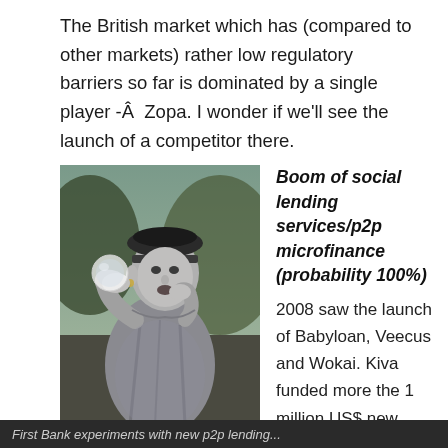The British market which has (compared to other markets) rather low regulatory barriers so far is dominated by a single player -Â  Zopa. I wonder if we'll see the launch of a competitor there.
[Figure (photo): A person dressed in silver/grey theatrical costume holding a crystal ball, looking like a fortune teller or street performer]
Boom of social lending services/p2p microfinance (probability 100%)
2008 saw the launch of Babyloan, Veecus and Wokai. Kiva funded more the 1 million US$ new loans in a single week in the end of December. The steep growth of Kiva, MyC4 and other services will continue and new p2p microfinance platforms will launch.
First Bank experiments with new p2p lending...